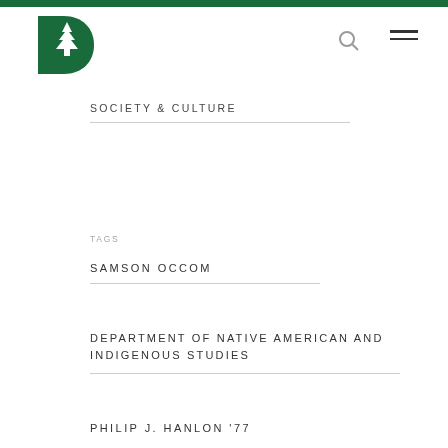[Figure (logo): Dartmouth College D-Pine tree logo in dark green]
SOCIETY & CULTURE
TAGS
SAMSON OCCOM
DEPARTMENT OF NATIVE AMERICAN AND INDIGENOUS STUDIES
PHILIP J. HANLON '77